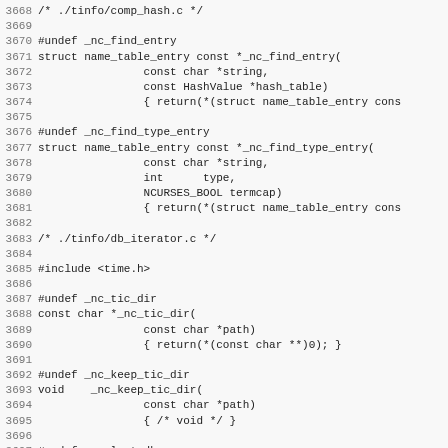[Figure (screenshot): Source code listing showing C code with line numbers 3668-3699, displaying function stubs for _nc_find_entry, _nc_find_type_entry, _nc_tic_dir, _nc_keep_tic_dir, and _nc_last_db from ncurses library files comp_hash.c and db_iterator.c]